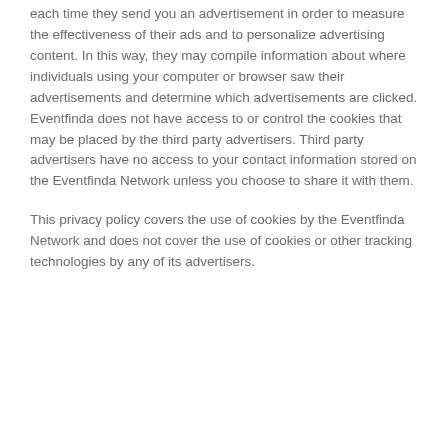each time they send you an advertisement in order to measure the effectiveness of their ads and to personalize advertising content. In this way, they may compile information about where individuals using your computer or browser saw their advertisements and determine which advertisements are clicked. Eventfinda does not have access to or control the cookies that may be placed by the third party advertisers. Third party advertisers have no access to your contact information stored on the Eventfinda Network unless you choose to share it with them.
This privacy policy covers the use of cookies by the Eventfinda Network and does not cover the use of cookies or other tracking technologies by any of its advertisers.